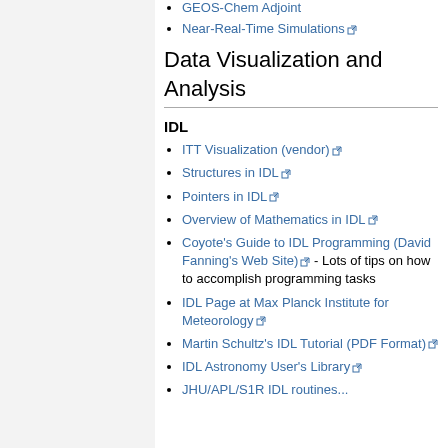GEOS-Chem Adjoint
Near-Real-Time Simulations
Data Visualization and Analysis
IDL
ITT Visualization (vendor)
Structures in IDL
Pointers in IDL
Overview of Mathematics in IDL
Coyote's Guide to IDL Programming (David Fanning's Web Site) - Lots of tips on how to accomplish programming tasks
IDL Page at Max Planck Institute for Meteorology
Martin Schultz's IDL Tutorial (PDF Format)
IDL Astronomy User's Library
JHU/APL/S1R IDL routines...